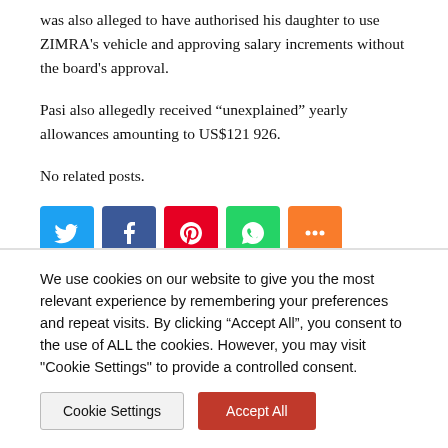was also alleged to have authorised his daughter to use ZIMRA's vehicle and approving salary increments without the board's approval.
Pasi also allegedly received “unexplained” yearly allowances amounting to US$121 926.
No related posts.
[Figure (infographic): Row of five social media share buttons: Twitter (blue), Facebook (dark blue), Pinterest (red), WhatsApp (green), More (orange)]
We use cookies on our website to give you the most relevant experience by remembering your preferences and repeat visits. By clicking “Accept All”, you consent to the use of ALL the cookies. However, you may visit "Cookie Settings" to provide a controlled consent.